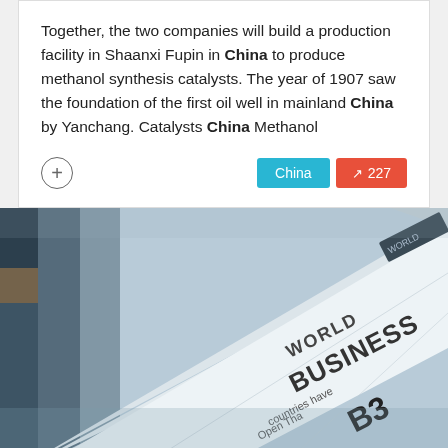Together, the two companies will build a production facility in Shaanxi Fupin in China to produce methanol synthesis catalysts. The year of 1907 saw the foundation of the first oil well in mainland China by Yanchang. Catalysts China Methanol
[Figure (photo): Close-up photo of stacked newspapers showing headlines including 'WORLD BUSINESS' and 'B3', with text 'countries have' and 'Open Tha' visible]